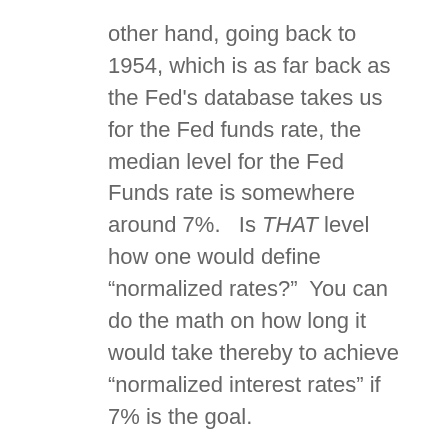other hand, going back to 1954, which is as far back as the Fed's database takes us for the Fed funds rate, the median level for the Fed Funds rate is somewhere around 7%.   Is THAT level how one would define “normalized rates?”  You can do the math on how long it would take thereby to achieve “normalized interest rates” if 7% is the goal.
Since mid-December 2016, when gold appears to have bottomed out from the manipulated price “correction” that began in August, gold has been trading in defiance of the Fed’s attempts at price control.  Yesterday’s (Wednesday, Feb 22nd) trading action is point in case.  Gold was slammed for about $9 right after the paper trading market on the Comex floored commenced.  This is